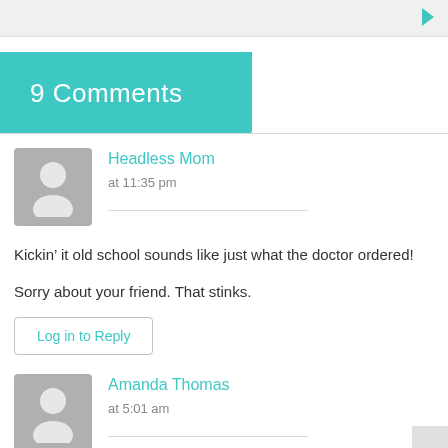9 Comments
Headless Mom
at 11:35 pm
Kickin’ it old school sounds like just what the doctor ordered!

Sorry about your friend. That stinks.
Log in to Reply
Amanda Thomas
at 5:01 am